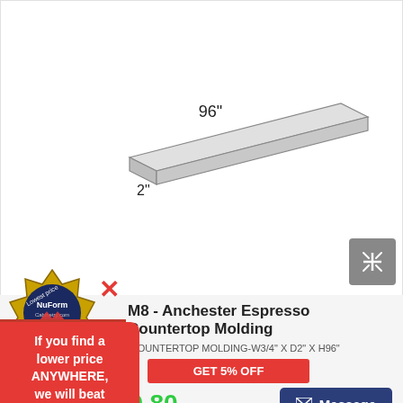[Figure (illustration): Engineering/product illustration of a long narrow molding strip shown in perspective, labeled 96 inches in length and 2 inches in width]
M8 - Anchester Espresso Countertop Molding
R ESPRESSO COUNTERTOP MOLDING-W3/4" X D2" X H96"
GET 5% OFF
$59.80
Message
[Figure (logo): Lowest price guarantee badge with NuForm Cabinetry logo]
If you find a lower price ANYWHERE, we will beat it!